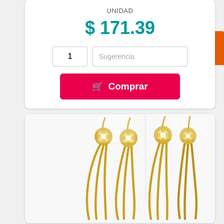UNIDAD
$ 171.39
1
Sugerencia
🛒 Comprar
Home
[Figure (photo): Product photo showing two pairs of gold dangling earrings with crystal/rhinestone flower tops and multiple gold chain strands hanging down, displayed on a white background.]